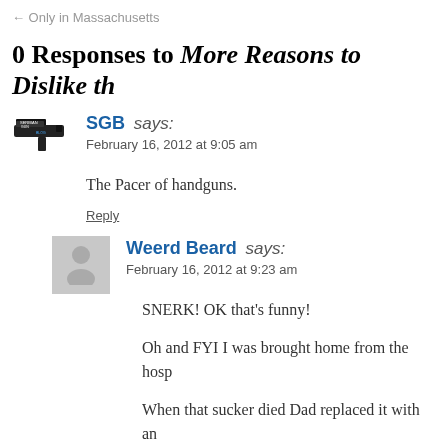← Only in Massachusetts
0 Responses to More Reasons to Dislike th
SGB says:
February 16, 2012 at 9:05 am
The Pacer of handguns.
Reply
Weerd Beard says:
February 16, 2012 at 9:23 am
SNERK! OK that’s funny!
Oh and FYI I was brought home from the hosp
When that sucker died Dad replaced it with an